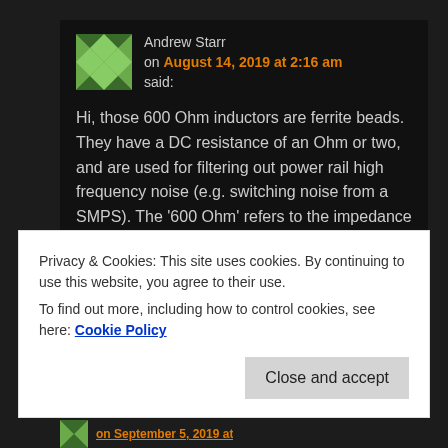Andrew Starr on August 14, 2019 at 2:16 am said:
Hi, those 600 Ohm inductors are ferrite beads. They have a DC resistance of an Ohm or two, and are used for filtering out power rail high frequency noise (e.g. switching noise from a SMPS). The ‘600 Ohm’ refers to the impedance at a given frequency (usually some 10s or 100s of MHz).
Privacy & Cookies: This site uses cookies. By continuing to use this website, you agree to their use.
To find out more, including how to control cookies, see here: Cookie Policy